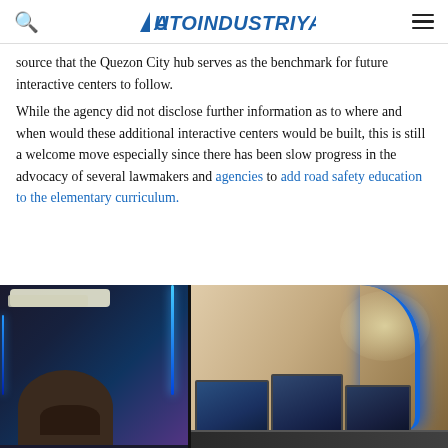AutoIndustriya.com
source that the Quezon City hub serves as the benchmark for future interactive centers to follow.
While the agency did not disclose further information as to where and when would these additional interactive centers would be built, this is still a welcome move especially since there has been slow progress in the advocacy of several lawmakers and agencies to add road safety education to the elementary curriculum.
[Figure (photo): Interior photos of driving simulator interactive center showing blue LED lighting, driving simulator screens and a person seated at the simulator]